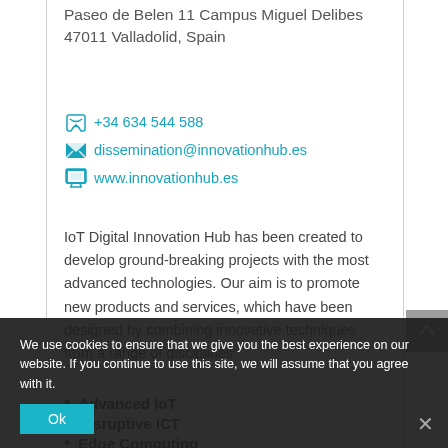Paseo de Belen 11 Campus Miguel Delibes 47011 Valladolid, Spain
+34 634 544 588
dissemination@innovationhub.es
www.innovationhub.es
IoT Digital Innovation Hub has been created to develop ground-breaking projects with the most advanced technologies. Our aim is to promote new products and services, which have been designed by combining innovative techniques from a range of disciplines:
Advanced IoT
Disruptive ICT
Edge Computing